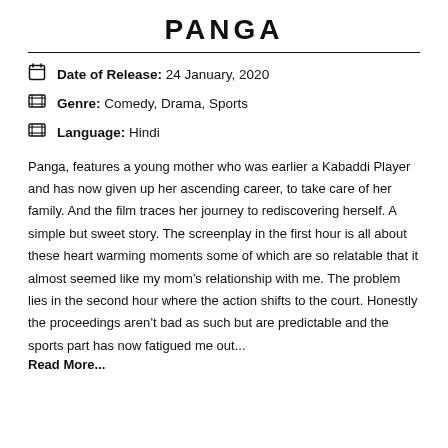PANGA
Date of Release: 24 January, 2020
Genre: Comedy, Drama, Sports
Language: Hindi
Panga, features a young mother who was earlier a Kabaddi Player and has now given up her ascending career, to take care of her family. And the film traces her journey to rediscovering herself. A simple but sweet story. The screenplay in the first hour is all about these heart warming moments some of which are so relatable that it almost seemed like my mom’s relationship with me. The problem lies in the second hour where the action shifts to the court. Honestly the proceedings aren’t bad as such but are predictable and the sports part has now fatigued me out...
Read More...